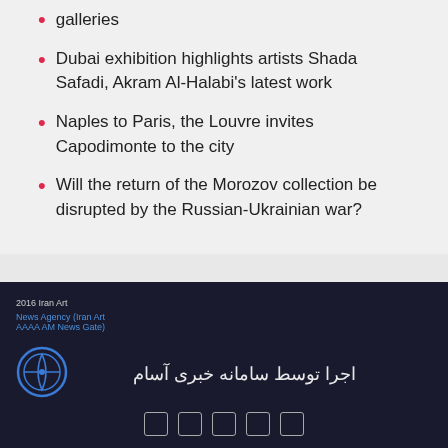galleries
Dubai exhibition highlights artists Shada Safadi, Akram Al-Halabi's latest work
Naples to Paris, the Louvre invites Capodimonte to the city
Will the return of the Morozov collection be disrupted by the Russian-Ukrainian war?
2016 Iran Art News Agency (Iran Art AAAA AM News Gate) | اجرا توسط سامانه خبری آسام